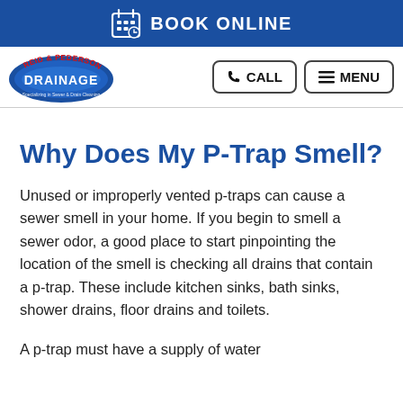BOOK ONLINE
[Figure (logo): Reid & Pederson Drainage logo — circular blue and red logo with text]
Why Does My P-Trap Smell?
Unused or improperly vented p-traps can cause a sewer smell in your home. If you begin to smell a sewer odor, a good place to start pinpointing the location of the smell is checking all drains that contain a p-trap. These include kitchen sinks, bath sinks, shower drains, floor drains and toilets.
A p-trap must have a supply of water